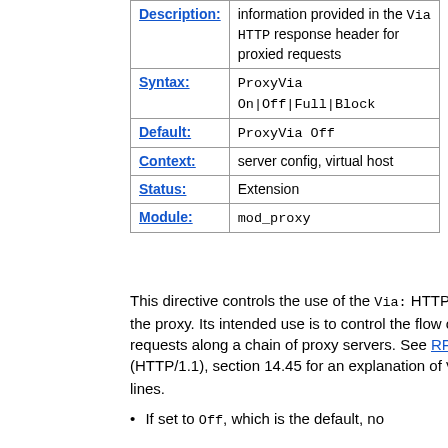| Field | Value |
| --- | --- |
| Description: | information provided in the Via HTTP response header for proxied requests |
| Syntax: | ProxyVia On|Off|Full|Block |
| Default: | ProxyVia Off |
| Context: | server config, virtual host |
| Status: | Extension |
| Module: | mod_proxy |
This directive controls the use of the Via: HTTP header by the proxy. Its intended use is to control the flow of proxy requests along a chain of proxy servers. See RFC 2616 (HTTP/1.1), section 14.45 for an explanation of Via: header lines.
If set to Off, which is the default, no...